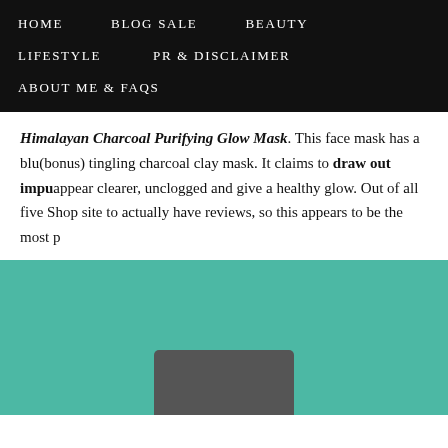HOME   BLOG SALE   BEAUTY   LIFESTYLE   PR & DISCLAIMER   ABOUT ME & FAQs
Himalayan Charcoal Purifying Glow Mask. This face mask has a blu(e) (bonus) tingling charcoal clay mask. It claims to draw out impu(rities) appear clearer, unclogged and give a healthy glow. Out of all five (products on the) Shop site to actually have reviews, so this appears to be the most p(opular).
[Figure (photo): Teal/turquoise background with a dark product container (the Himalayan Charcoal Purifying Glow Mask) visible at the bottom center of the image.]